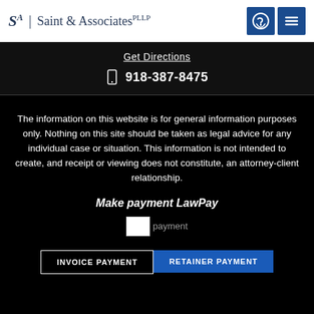[Figure (logo): Saint & Associates PLLP law firm logo with stylized SA monogram]
Get Directions
918-387-8475
The information on this website is for general information purposes only. Nothing on this site should be taken as legal advice for any individual case or situation. This information is not intended to create, and receipt or viewing does not constitute, an attorney-client relationship.
Make payment LawPay
[Figure (other): Payment image placeholder (broken image icon) labeled 'payment']
INVOICE PAYMENT
RETAINER PAYMENT